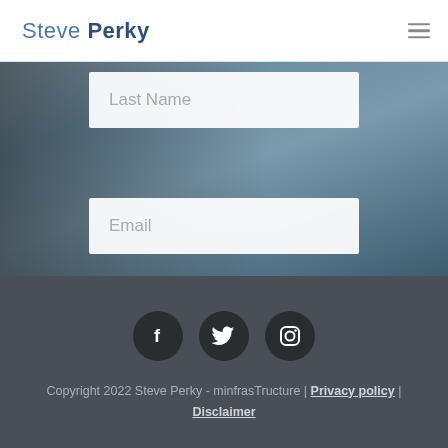Steve Perky
[Figure (screenshot): Website signup form section with a blurred laptop and phone background. Contains a 'Last Name' text input field, an 'Email' text input field, and a blue 'Sign Up' button.]
[Figure (infographic): Footer with three circular dark social media icons: Facebook (f), Twitter (bird), Instagram (camera outline)]
Copyright 2022 Steve Perky - minfrasTructure | Privacy policy | Disclaimer